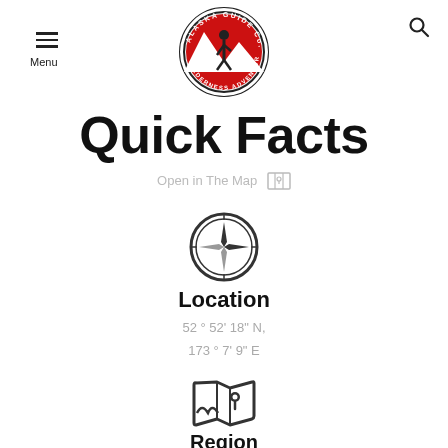[Figure (logo): Alaska Guide Co. Wilderness Adventures circular logo with red background and hiker silhouette]
Quick Facts
Open in The Map
[Figure (illustration): Compass icon]
Location
52 ° 52' 18" N, 173 ° 7' 9" E
[Figure (illustration): Map with location pin icon]
Region